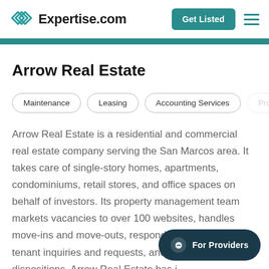Expertise.com
Arrow Real Estate
Maintenance
Leasing
Accounting Services
Prope...
Arrow Real Estate is a residential and commercial real estate company serving the San Marcos area. It takes care of single-story homes, apartments, condominiums, retail stores, and office spaces on behalf of investors. Its property management team markets vacancies to over 100 websites, handles move-ins and move-outs, responds to day-to-day tenant inquiries and requests, and prepares dispositions. Arrow Real Estate has i...